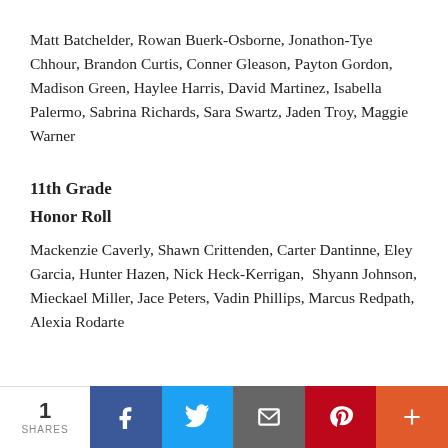Matt Batchelder, Rowan Buerk-Osborne, Jonathon-Tye Chhour, Brandon Curtis, Conner Gleason, Payton Gordon, Madison Green, Haylee Harris, David Martinez, Isabella Palermo, Sabrina Richards, Sara Swartz, Jaden Troy, Maggie Warner
11th Grade
Honor Roll
Mackenzie Caverly, Shawn Crittenden, Carter Dantinne, Eley Garcia, Hunter Hazen, Nick Heck-Kerrigan, Shyann Johnson, Mieckael Miller, Jace Peters, Vadin Phillips, Marcus Redpath, Alexia Rodarte
1 SHARES | Facebook | Twitter | Email | Pinterest | More